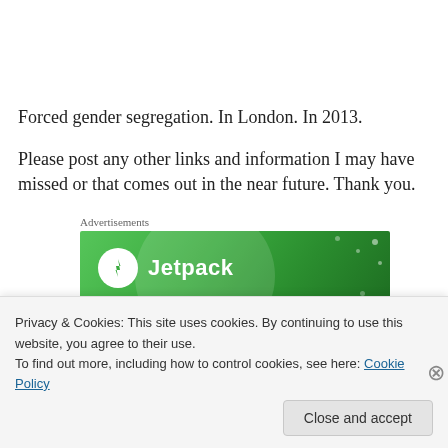Forced gender segregation. In London. In 2013.
Please post any other links and information I may have missed or that comes out in the near future. Thank you.
Advertisements
[Figure (logo): Jetpack advertisement banner - green background with Jetpack logo (lightning bolt in white circle) and white text 'Jetpack']
Privacy & Cookies: This site uses cookies. By continuing to use this website, you agree to their use.
To find out more, including how to control cookies, see here: Cookie Policy
Close and accept